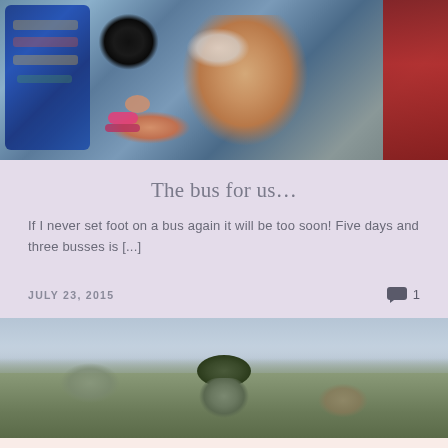[Figure (photo): Photo of a smiling man on a bus holding or being close to a black cat, with a hand wearing pink bracelets visible, colorful bus seats in background]
The bus for us…
If I never set foot on a bus again it will be too soon! Five days and three busses is [...]
JULY 23, 2015
1
[Figure (photo): Outdoor landscape photo showing rocky terrain under a hazy sky, with a figure wearing a camouflage hat in the foreground]